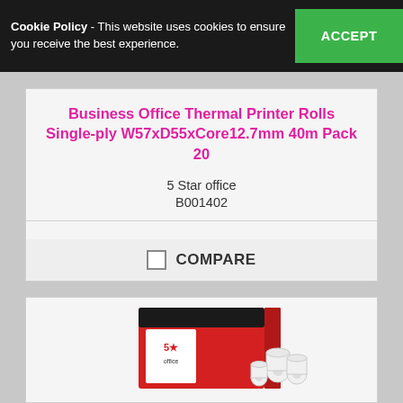Cookie Policy - This website uses cookies to ensure you receive the best experience. ACCEPT
Business Office Thermal Printer Rolls Single-ply W57xD55xCore12.7mm 40m Pack 20
5 Star office
B001402
-
COMPARE
[Figure (photo): Photo of a red and black box of 5 Star office thermal printer rolls with several white paper rolls shown next to/in front of the box]